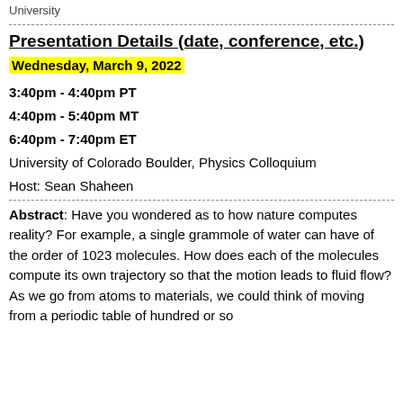University
Presentation Details (date, conference, etc.)
Wednesday, March 9, 2022
3:40pm - 4:40pm PT
4:40pm - 5:40pm MT
6:40pm - 7:40pm ET
University of Colorado Boulder, Physics Colloquium
Host: Sean Shaheen
Abstract: Have you wondered as to how nature computes reality? For example, a single grammole of water can have of the order of 1023 molecules. How does each of the molecules compute its own trajectory so that the motion leads to fluid flow? As we go from atoms to materials, we could think of moving from a periodic table of hundred or so